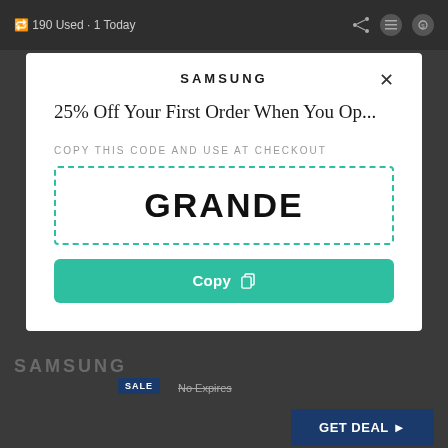190 Used · 1 Today
SAMSUNG
25% Off Your First Order When You Op...
COPY THIS CODE AND USE AT CHECKOUT
GRANDE
Copy
SAMSUNG
SALE   No Expires
GET DEAL